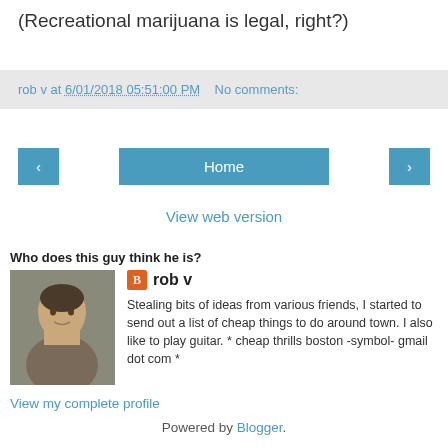(Recreational marijuana is legal, right?)
rob v at 6/01/2018 05:51:00 PM   No comments:
‹   Home   ›
View web version
Who does this guy think he is?
[Figure (photo): Profile photo of rob v, a man smiling slightly, dark background]
rob v
Stealing bits of ideas from various friends, I started to send out a list of cheap things to do around town. I also like to play guitar. * cheap thrills boston -symbol- gmail dot com *
View my complete profile
Powered by Blogger.